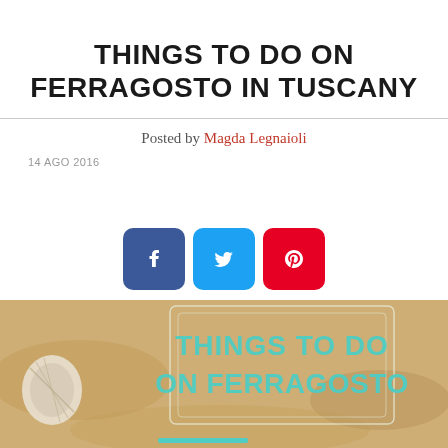THINGS TO DO ON FERRAGOSTO IN TUSCANY
Posted by Magda Legnaioli
14 AGO 2016
[Figure (infographic): Social media share buttons: Facebook (blue), Twitter (light blue), Pinterest (red) with respective icons]
[Figure (infographic): Hero image with sandy beach background, a seashell on the left, and text overlay reading 'THINGS TO DO ON FERRAGOSTO' in teal/turquoise large font inside a decorative border frame]